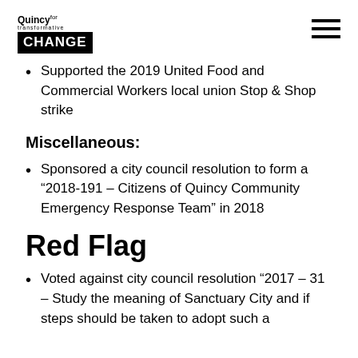Quincy for transformative CHANGE
Supported the 2019 United Food and Commercial Workers local union Stop & Shop strike
Miscellaneous:
Sponsored a city council resolution to form a ‘2018-191 – Citizens of Quincy Community Emergency Response Team’ in 2018
Red Flag
Voted against city council resolution “2017 – 31 – Study the meaning of Sanctuary City and if steps should be taken to adopt such a